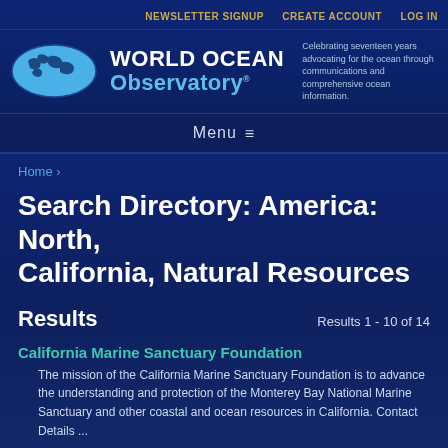NEWSLETTER SIGNUP   CREATE ACCOUNT   LOG IN
[Figure (logo): World Ocean Observatory logo with globe and site name]
Celebrating seventeen years advocating for the ocean through communications and comprehensive ocean information.
Menu ≡
Home ›
Search Directory: America: North, California, Natural Resources
Results
Results 1 - 10 of 14
California Marine Sanctuary Foundation
The mission of the California Marine Sanctuary Foundation is to advance the understanding and protection of the Monterey Bay National Marine Sanctuary and other coastal and ocean resources in California. Contact Details ...